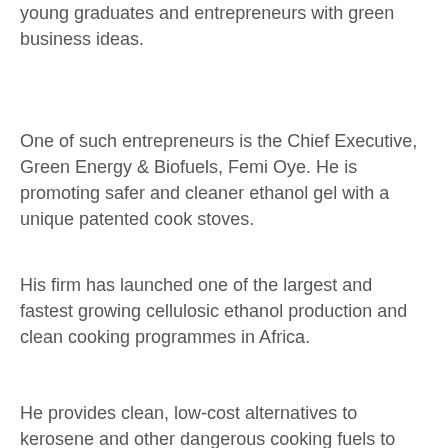young graduates and entrepreneurs with green business ideas.
One of such entrepreneurs is the Chief Executive, Green Energy & Biofuels, Femi Oye. He is promoting safer and cleaner ethanol gel with a unique patented cook stoves.
His firm has launched one of the largest and fastest growing cellulosic ethanol production and clean cooking programmes in Africa.
He provides clean, low-cost alternatives to kerosene and other dangerous cooking fuels to many homes.
This enterprise has helped him to attract international funding to expand his